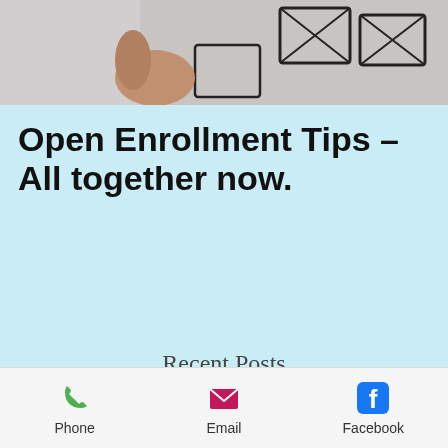[Figure (photo): Top partial photo showing a hand with wireframe/sketch UI elements on paper]
Open Enrollment Tips – All together now.
Recent Posts
[Figure (photo): Thumbnail image of a smartphone displaying colorful mobile phone apps with text overlay 'Mobile Phone Apps' and health insurance branding]
There's an App for That!
Phone  Email  Facebook